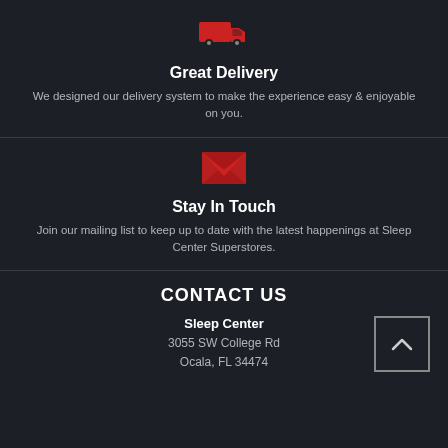[Figure (illustration): Red delivery truck icon]
Great Delivery
We designed our delivery system to make the experience easy & enjoyable on you.
[Figure (illustration): Red envelope/mail icon]
Stay In Touch
Join our mailing list to keep up to date with the latest happenings at Sleep Center Superstores.
CONTACT US
Sleep Center
3055 SW College Rd
Ocala, FL 34474